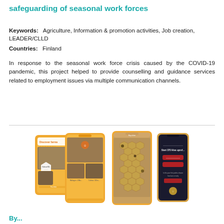safeguarding of seasonal work forces
Keywords:   Agriculture, Information & promotion activities, Job creation, LEADER/CLLD
Countries:   Finland
In response to the seasonal work force crisis caused by the COVID-19 pandemic, this project helped to provide counselling and guidance services related to employment issues via multiple communication channels.
[Figure (photo): Four mobile phone screens showing an app interface with orange/amber backgrounds, displaying what appears to be a nature/wildlife discovery app with images of bees/honeycombs and text including 'Discover farma']
By...